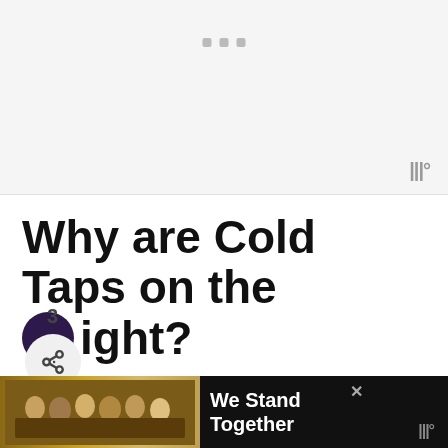[Figure (other): Advertisement banner placeholder area with three small grey squares/dots at top center and a grey triple-bar wordmark at lower right]
Why are Cold Taps on the Right?
The simple answer to this question is that most people are right–handed, and the right tap is used the most. So, therefore, the hot tap is on the left.
[Figure (other): Bottom advertisement strip showing group of people with We Stand Together text and close button]